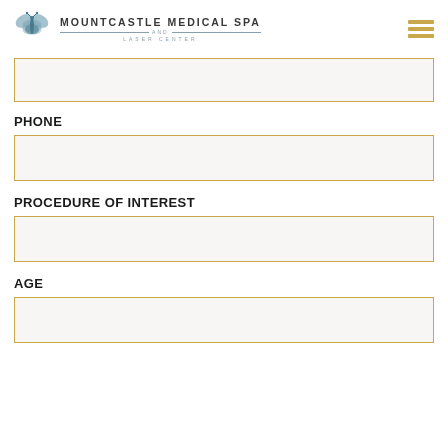[Figure (logo): Mountcastle Medical Spa and Laser Center logo with butterfly/dove icon]
PHONE
PROCEDURE OF INTEREST
AGE